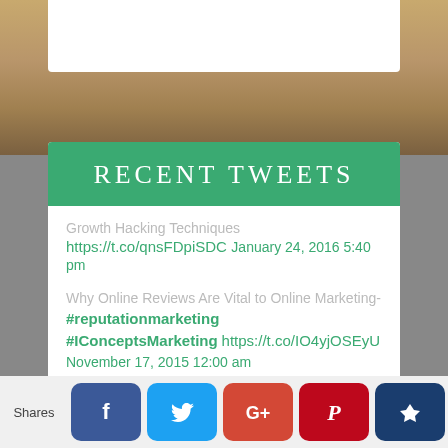RECENT TWEETS
Growth Hacking Techniques https://t.co/qnsFDpiSDC January 24, 2016 5:40 pm
Why Online Reviews Are Vital to Online Marketing- #reputationmarketing #IConceptsMarketing https://t.co/IO4yjOSEyU November 17, 2015 12:00 am
Is Paid Social Marketing Worth the Investment?-
Shares